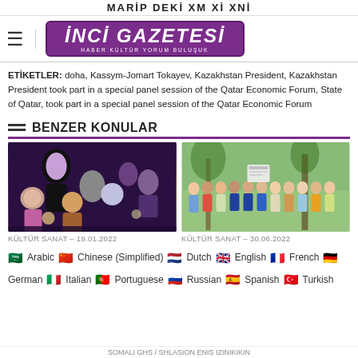MARİP DEKİ XM Xİ XNİ
[Figure (logo): İnci Gazetesi logo — purple rounded rectangle with bold white italic text 'İNCİ GAZETESİ' and subtitle 'HABER KÜLTÜR YORUM BULUŞUK']
ETİKETLER: doha, Kassym-Jomart Tokayev, Kazakhstan President, Kazakhstan President took part in a special panel session of the Qatar Economic Forum, State of Qatar, took part in a special panel session of the Qatar Economic Forum
BENZER KONULAR
[Figure (photo): A crowded indoor event scene, dark-clothed performer on stage with audience members around, some wearing hijabs, camera flashes visible.]
KÜLTÜR SANAT – 19.01.2022
[Figure (photo): Group photo of approximately 12 people standing outdoors in a garden/park setting, including men in suits and women in colourful dresses.]
KÜLTÜR SANAT – 30.06.2022
Arabic  Chinese (Simplified)  Dutch  English  French  German  Italian  Portuguese  Russian  Spanish  Turkish
SOMALI GHS / SHLASION ENIS IZINIKIKIN